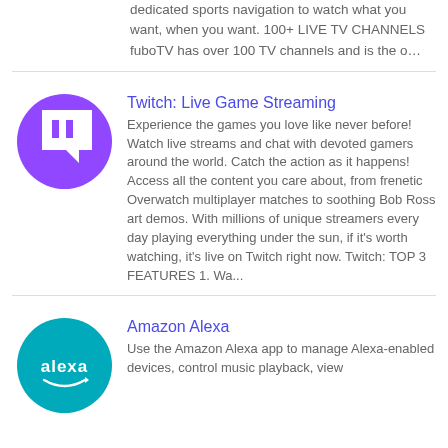dedicated sports navigation to watch what you want, when you want. 100+ LIVE TV CHANNELS fuboTV has over 100 TV channels and is the o…
[Figure (logo): Twitch app logo: purple circle with white Twitch speech bubble/controller icon]
Twitch: Live Game Streaming
Experience the games you love like never before! Watch live streams and chat with devoted gamers around the world. Catch the action as it happens! Access all the content you care about, from frenetic Overwatch multiplayer matches to soothing Bob Ross art demos. With millions of unique streamers every day playing everything under the sun, if it's worth watching, it's live on Twitch right now. Twitch: TOP 3 FEATURES 1. Wa...
[Figure (logo): Amazon Alexa app logo: teal/cyan circle with white 'alexa' text and Amazon smile arrow]
Amazon Alexa
Use the Amazon Alexa app to manage Alexa-enabled devices, control music playback, view